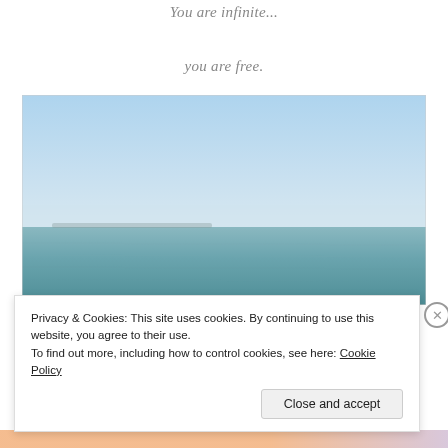You are infinite...
you are free.
[Figure (photo): A calm open sea under a clear light blue sky, with a faint horizon line and distant landmass barely visible.]
Privacy & Cookies: This site uses cookies. By continuing to use this website, you agree to their use.
To find out more, including how to control cookies, see here: Cookie Policy